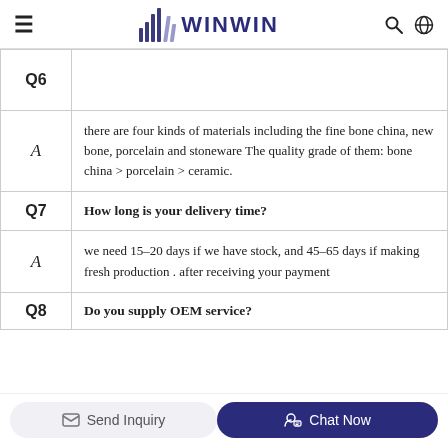WINWIN
| Label | Content |
| --- | --- |
| Q6 |  |
| A | there are four kinds of materials including the fine bone china, new bone, porcelain and stoneware The quality grade of them: bone china > porcelain > ceramic. |
| Q7 | How long is your delivery time? |
| A | we need 15-20 days if we have stock, and 45-65 days if making fresh production . after receiving your payment |
| Q8 | Do you supply OEM service? |
Send Inquiry | Chat Now